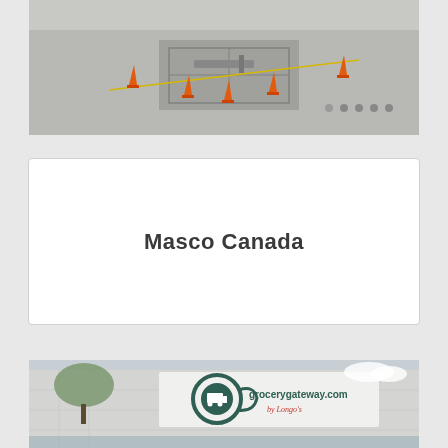[Figure (photo): Aerial or overhead photo of a construction site with orange traffic cones and road work equipment on a paved surface]
Masco Canada
[Figure (photo): Exterior photo of a large commercial warehouse building with a Grocery Gateway (grocerygateway.com by Longo's) logo and signage on the facade]